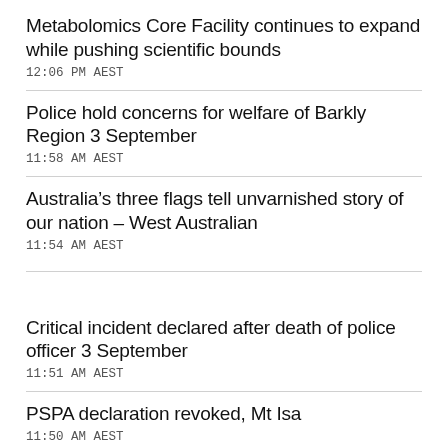Metabolomics Core Facility continues to expand while pushing scientific bounds
12:06 PM AEST
Police hold concerns for welfare of Barkly Region 3 September
11:58 AM AEST
Australia’s three flags tell unvarnished story of our nation – West Australian
11:54 AM AEST
Critical incident declared after death of police officer 3 September
11:51 AM AEST
PSPA declaration revoked, Mt Isa
11:50 AM AEST
Assistant Secretary Trujillo Showcases